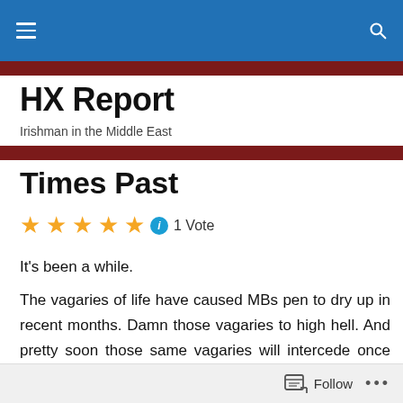HX Report — navigation bar
HX Report
Irishman in the Middle East
Times Past
★★★★★ ℹ 1 Vote
It's been a while.
The vagaries of life have caused MBs pen to dry up in recent months. Damn those vagaries to high hell. And pretty soon those same vagaries will intercede once more
Follow  •••